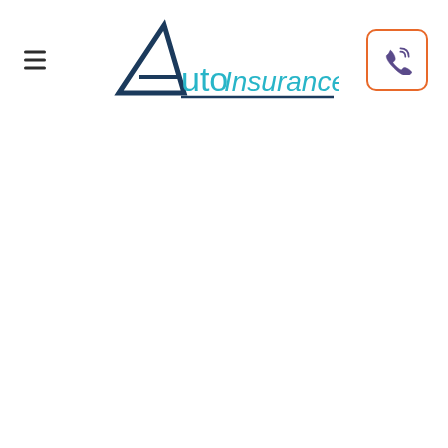AutoInsuranceQuote — navigation header with logo and phone button